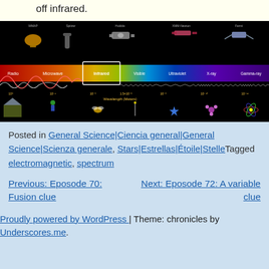off infrared.
[Figure (infographic): Electromagnetic spectrum diagram showing Radio, Microwave, Infrared (highlighted), Visible, Ultraviolet, X-ray, and Gamma-ray bands with corresponding wavelengths in meters and telescope/satellite icons (WMAP, Spitzer, Hubble, XMM-Newton, Fermi) above each band, and size-comparison objects below.]
Posted in General Science|Ciencia general|General Science|Scienza generale, Stars|Estrellas|Étoile|Stelle Tagged electromagnetic, spectrum
Previous: Eposode 70: Fusion clue
Next: Eposode 72: A variable clue
Proudly powered by WordPress | Theme: chronicles by Underscores.me.